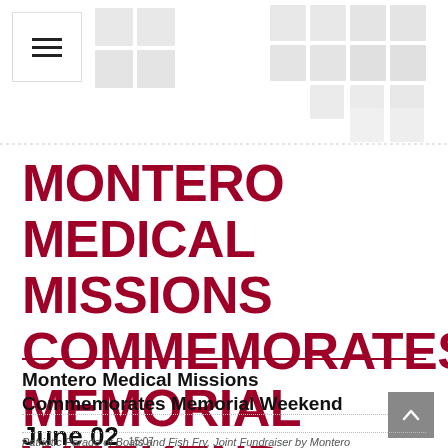MONTERO MEDICAL MISSIONS COMMEMORATES MEMORIAL WEEKEND
Montero Medical Missions Commemorates Memorial Weekend
June 02  15:07  2022
Patriotic Parade of Boats and Fish Fry, Joint Fundraiser by Montero